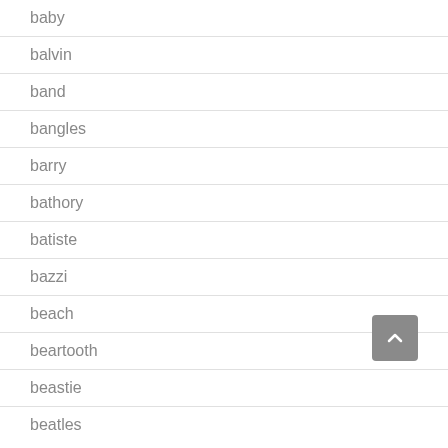baby
balvin
band
bangles
barry
bathory
batiste
bazzi
beach
beartooth
beastie
beatles